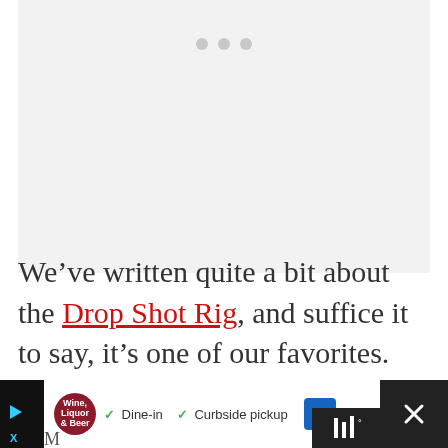[Figure (other): Light gray image placeholder with three gray dots at the top center, indicating a loading or carousel image area.]
We’ve written quite a bit about the Drop Shot Rig, and suffice it to say, it’s one of our favorites. Check out our drop shot tips!
[Figure (other): Advertisement bar at the bottom: Wine, Liquor & Beer store ad with Dine-in and Curbside pickup checkmarks, a blue navigation arrow icon, a close X button on the right dark panel. Bottom left shows partial text 'M' and play/X icons.]